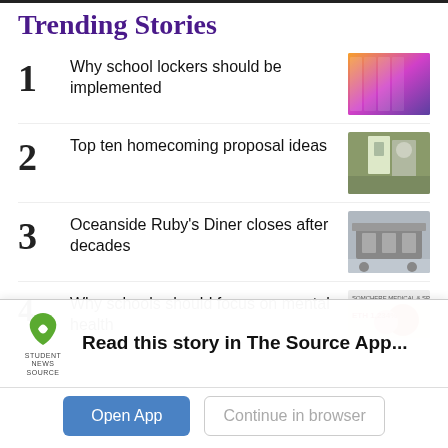Trending Stories
1 Why school lockers should be implemented
2 Top ten homecoming proposal ideas
3 Oceanside Ruby's Diner closes after decades
4 Why schools should focus on mental health
Read this story in The Source App...
Open App
Continue in browser